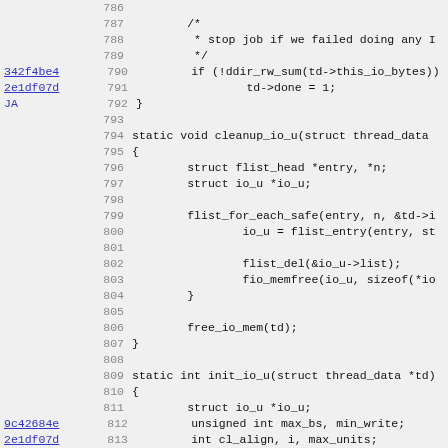Source code listing lines 786-818, C code with annotations
[Figure (screenshot): Code viewer showing C source code lines 786-818 with commit hash annotations on the left margin and line numbers. Code includes functions cleanup_io_u and init_io_u.]